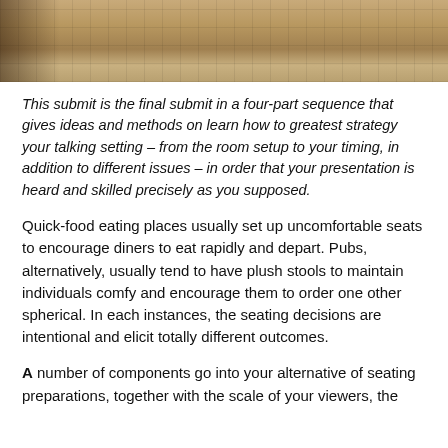[Figure (photo): A photo showing a tiled floor with a warm brown/tan checkered pattern, with chair legs visible at the top left.]
This submit is the final submit in a four-part sequence that gives ideas and methods on learn how to greatest strategy your talking setting – from the room setup to your timing, in addition to different issues – in order that your presentation is heard and skilled precisely as you supposed.
Quick-food eating places usually set up uncomfortable seats to encourage diners to eat rapidly and depart. Pubs, alternatively, usually tend to have plush stools to maintain individuals comfy and encourage them to order one other spherical. In each instances, the seating decisions are intentional and elicit totally different outcomes.
A number of components go into your alternative of seating preparations, together with the scale of your viewers, the